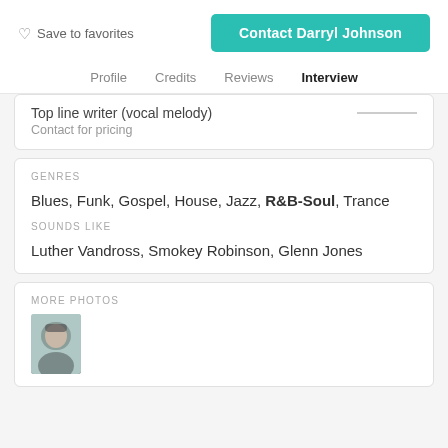Save to favorites
Contact Darryl Johnson
Profile  Credits  Reviews  Interview
Top line writer (vocal melody)
Contact for pricing
GENRES
Blues, Funk, Gospel, House, Jazz, R&B-Soul, Trance
SOUNDS LIKE
Luther Vandross, Smokey Robinson, Glenn Jones
MORE PHOTOS
[Figure (photo): Small thumbnail photo of Darryl Johnson]